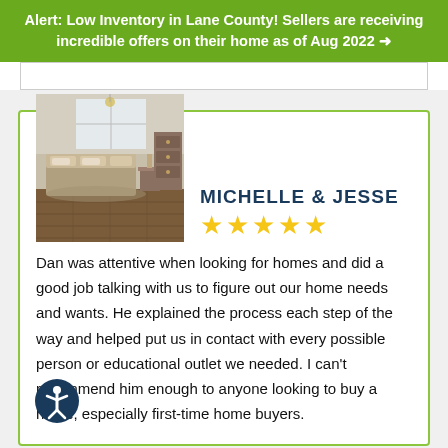Alert: Low Inventory in Lane County! Sellers are receiving incredible offers on their home as of Aug 2022 →
[Figure (photo): Bedroom/living room interior photo used as reviewer avatar]
MICHELLE & JESSE ★★★★★
Dan was attentive when looking for homes and did a good job talking with us to figure out our home needs and wants. He explained the process each step of the way and helped put us in contact with every possible person or educational outlet we needed. I can't recommend him enough to anyone looking to buy a home, especially first-time home buyers.